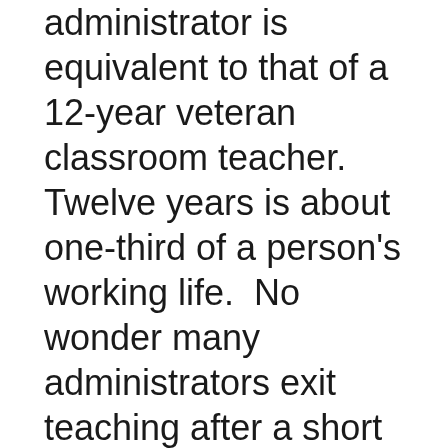administrator is equivalent to that of a 12-year veteran classroom teacher.   Twelve years is about one-third of a person's working life.  No wonder many administrators exit teaching after a short stint in the classroom.
Over the course of their careers, a teacher can't quite double her salary, a counselor can double her salary plus $8,000, and an administrator can more than double